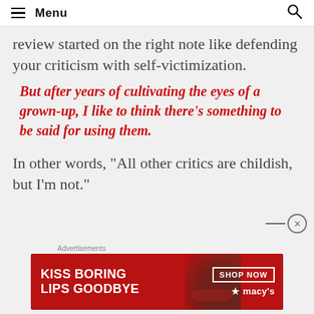Menu
review started on the right note like defending your criticism with self-victimization.
But after years of cultivating the eyes of a grown-up, I like to think there’s something to be said for using them.
In other words, “All other critics are childish, but I’m not.”
[Figure (photo): Macy's advertisement banner: 'KISS BORING LIPS GOODBYE' with a woman's lips photo and a SHOP NOW button with Macy's star logo]